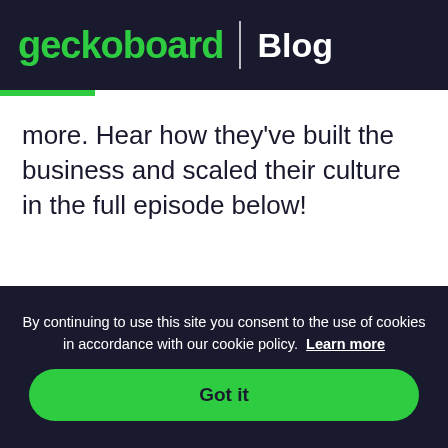geckoboard | Blog
more. Hear how they've built the business and scaled their culture in the full episode below!
By continuing to use this site you consent to the use of cookies in accordance with our cookie policy. Learn more
Got it